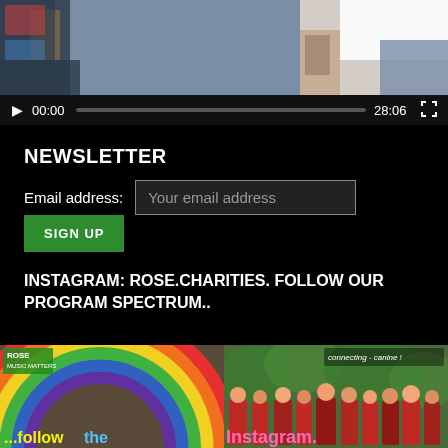[Figure (screenshot): Video player showing a person in a white shirt, with playback controls showing time 00:00 and duration 28:06]
NEWSLETTER
Email address: Your email address
SIGN UP
INSTAGRAM: ROSE.CHARITIES. FOLLOW OUR PROGRAM SPECTRUM..
[Figure (screenshot): Instagram banner showing a rainbow mural on the left with text '...follow the Instagram.' and a group photo on the right with text 'connecting - canine !']